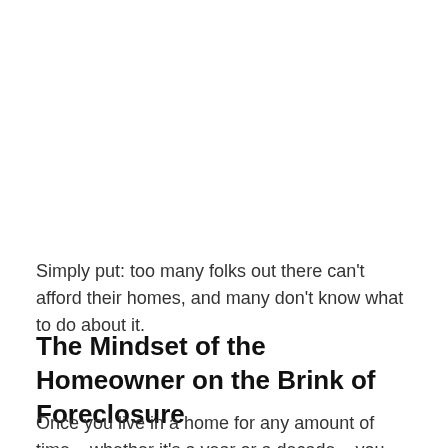Simply put: too many folks out there can't afford their homes, and many don't know what to do about it.
The Mindset of the Homeowner on the Brink of Foreclosure
Once you live in a home for any amount of time – whether it's a year or a decade – you naturally start to develop